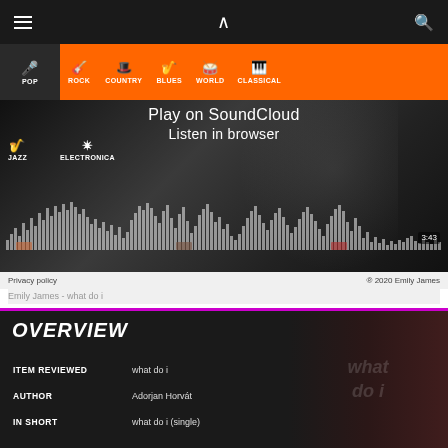≡  ∧  🔍
POP  ROCK  COUNTRY  BLUES  WORLD  CLASSICAL
[Figure (screenshot): SoundCloud player embedded in browser with waveform visualization. Shows 'Play on SoundCloud' and 'Listen in browser' options. Track duration 3:43.]
Privacy policy   ® 2020 Emily James
Emily James - what do i
|  |  |
| --- | --- |
| ITEM REVIEWED | what do i |
| AUTHOR | Adorjan Horvát |
| IN SHORT | what do i (single) |